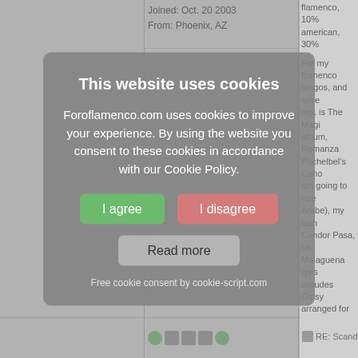Joined: Oct. 20 2003
From: Phoenix, AZ
flamenco, 10% american, 30%
For my flamenco tangos, and seve rep. is The Magi album, Romanza Pachelbel's Cano am going to rele Arabe), my latin Condor Pasa, La Malaguena (yes includes Gipsy arranged for one Guajira from Sa
All in all about simple patterns Cuban guajira p 45 min set and 1 solo guitar.
For my duo, we my partner wrot to a "he plays le like playing solo
REPORT THIS
RE: Scand
[Figure (screenshot): Cookie consent modal dialog with title 'This website uses cookies', body text about Foroflamenco.com cookies policy, three buttons: 'I agree' (green), 'I disagree' (red/pink), 'Read more' (gray), and footer 'Free cookie consent by cookie-script.com']